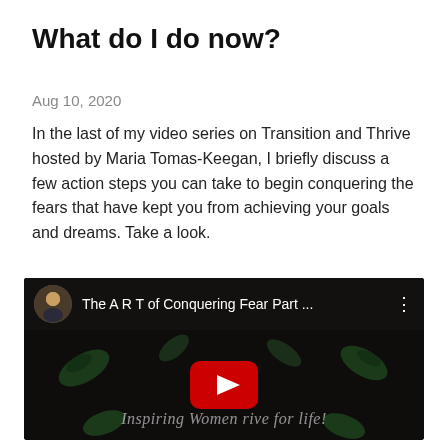What do I do now?
Aug 10, 2020
In the last of my video series on Transition and Thrive hosted by Maria Tomas-Keegan, I briefly discuss a few action steps you can take to begin conquering the fears that have kept you from achieving your goals and dreams. Take a look.
[Figure (screenshot): YouTube video thumbnail showing 'The A R T of Conquering Fear Part ...' with a circular avatar of a woman on the left, a YouTube play button in the center, and text 'Inspiring Women ... hrive for life!' at the bottom on a dark background with leaf decorations.]